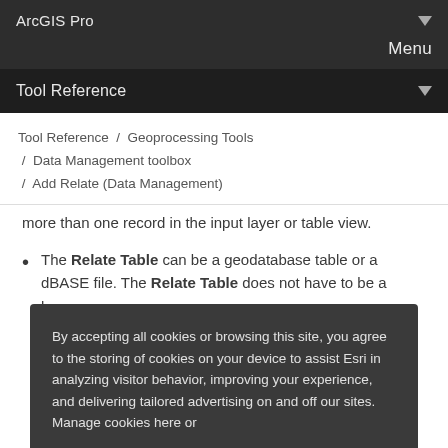ArcGIS Pro
Menu
Tool Reference
Tool Reference / Geoprocessing Tools / Data Management toolbox / Add Relate (Data Management)
more than one record in the input layer or table view.
The Relate Table can be a geodatabase table or a dBASE file. The Relate Table does not have to be a layer.
By accepting all cookies or browsing this site, you agree to the storing of cookies on your device to assist Esri in analyzing visitor behavior, improving your experience, and delivering tailored advertising on and off our sites. Manage cookies here or